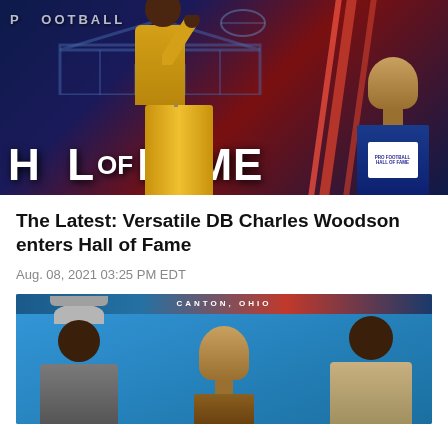[Figure (photo): Man in gold blazer speaking at podium at NFL Pro Football Hall of Fame induction ceremony, with bronze bust on stand visible to the right, red and blue Hall of Fame backdrop behind]
The Latest: Versatile DB Charles Woodson enters Hall of Fame
Aug. 08, 2021 03:25 PM EDT
[Figure (photo): Two men smiling and posing with a bronze bust at the Hall of Fame ceremony in Canton, Ohio, blue backdrop behind them]